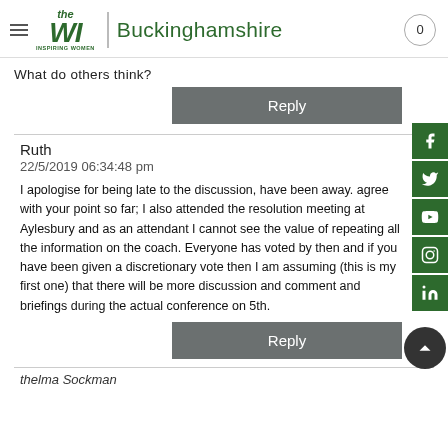theWI | Buckinghamshire
What do others think?
Reply
Ruth
22/5/2019 06:34:48 pm
I apologise for being late to the discussion, have been away. agree with your point so far; I also attended the resolution meeting at Aylesbury and as an attendant I cannot see the value of repeating all the information on the coach. Everyone has voted by then and if you have been given a discretionary vote then I am assuming (this is my first one) that there will be more discussion and comment and briefings during the actual conference on 5th.
Reply
thelma Sockman